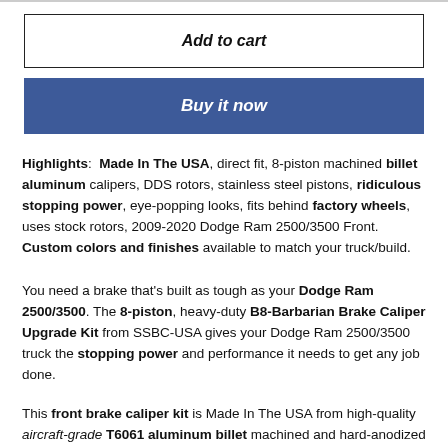Add to cart
Buy it now
Highlights:  Made In The USA, direct fit, 8-piston machined billet aluminum calipers, DDS rotors, stainless steel pistons, ridiculous stopping power, eye-popping looks, fits behind factory wheels, uses stock rotors, 2009-2020 Dodge Ram 2500/3500 Front.  Custom colors and finishes available to match your truck/build.
You need a brake that’s built as tough as your Dodge Ram 2500/3500. The 8-piston, heavy-duty B8-Barbarian Brake Caliper Upgrade Kit from SSBC-USA gives your Dodge Ram 2500/3500 truck the stopping power and performance it needs to get any job done.
This front brake caliper kit is Made In The USA from high-quality aircraft-grade T6061 aluminum billet machined and hard-anodized to...